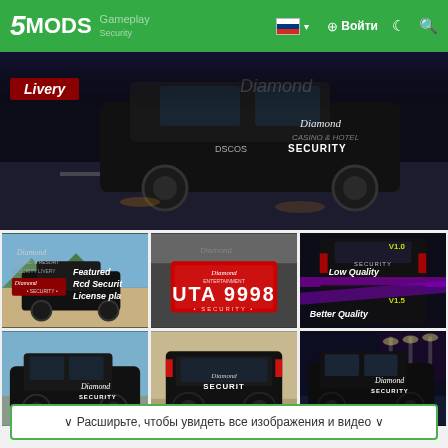5MODS | Войти
[Figure (screenshot): GTA 5 mod page showing Diamond Casino Security livery on a black SUV at night, with 'Livery' badge overlay]
[Figure (screenshot): Featured Rcd Security License plate thumbnail]
[Figure (screenshot): Diamond Security license plate 'UTA 9998']
[Figure (screenshot): V1.0 Low Quality / V1.5 Better Quality versions of the security vehicle livery]
[Figure (screenshot): Black Diamond Security SUV side view in daylight]
[Figure (screenshot): Black Diamond Security SUV rear view]
[Figure (screenshot): Black Diamond Security SUV side view at night]
Расширьте, чтобы увидеть все изображения и видео